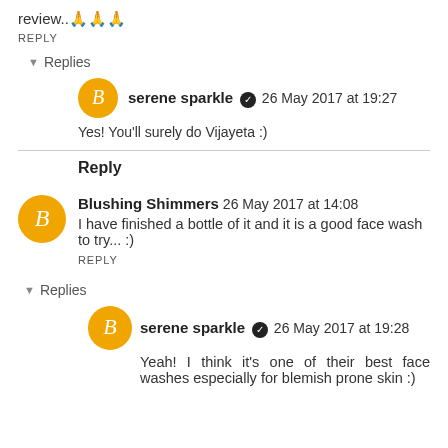review..🙏🙏🙏
REPLY
▼ Replies
serene sparkle ✓  26 May 2017 at 19:27
Yes! You'll surely do Vijayeta :)
Reply
Blushing Shimmers  26 May 2017 at 14:08
I have finished a bottle of it and it is a good face wash to try... :)
REPLY
▼ Replies
serene sparkle ✓  26 May 2017 at 19:28
Yeah! I think it's one of their best face washes especially for blemish prone skin :)